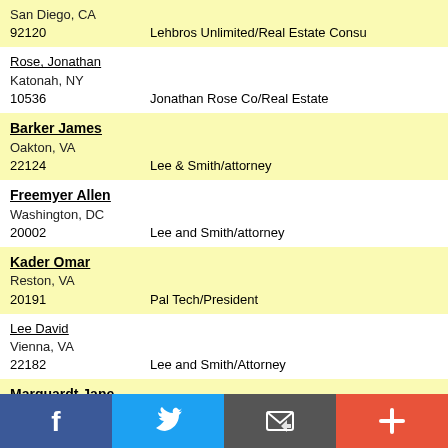San Diego, CA
92120    Lehbros Unlimited/Real Estate Consu
Rose, Jonathan
Katonah, NY
10536    Jonathan Rose Co/Real Estate
Barker James
Oakton, VA
22124    Lee & Smith/attorney
Freemyer Allen
Washington, DC
20002    Lee and Smith/attorney
Kader Omar
Reston, VA
20191    Pal Tech/President
Lee David
Vienna, VA
22182    Lee and Smith/Attorney
Marquardt Jane
Salt Lake City, UT
84103    Marquardt and Fadel/attorney
Milliken, John
Salt Lake City, UT
84103    Milcom Inc./President
Uihlein, Lynde